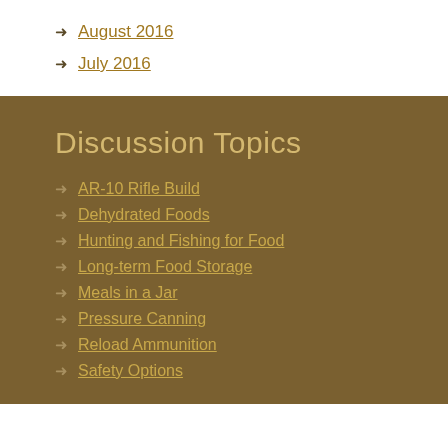August 2016
July 2016
Discussion Topics
AR-10 Rifle Build
Dehydrated Foods
Hunting and Fishing for Food
Long-term Food Storage
Meals in a Jar
Pressure Canning
Reload Ammunition
Safety Options